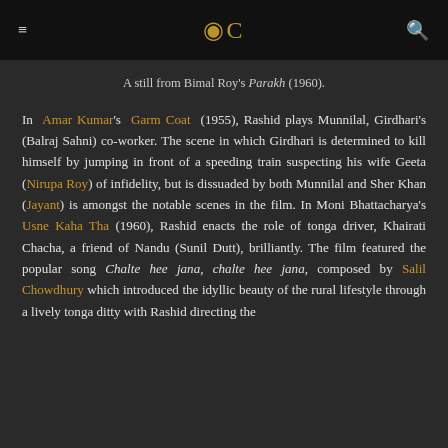≡  C  🔍
A still from Bimal Roy's Parakh (1960).
In Amar Kumar's Garm Coat (1955), Rashid plays Munnilal, Girdhari's (Balraj Sahni) co-worker. The scene in which Girdhari is determined to kill himself by jumping in front of a speeding train suspecting his wife Geeta (Nirupa Roy) of infidelity, but is dissuaded by both Munnilal and Sher Khan (Jayant) is amongst the notable scenes in the film. In Moni Bhattacharya's Usne Kaha Tha (1960), Rashid enacts the role of tonga driver, Khairati Chacha, a friend of Nandu (Sunil Dutt), brilliantly. The film featured the popular song Chalte hee jana, chalte hee jana, composed by Salil Chowdhury which introduced the idyllic beauty of the rural lifestyle through a lively tonga ditty with Rashid directing the